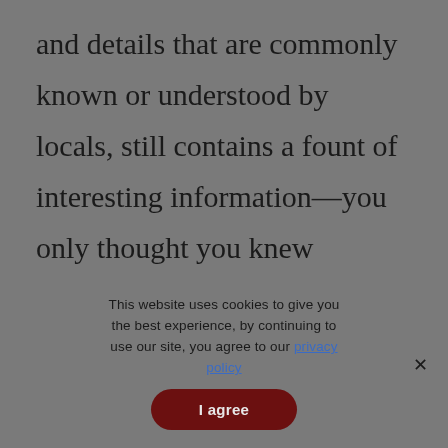and details that are commonly known or understood by locals, still contains a fount of interesting information—you only thought you knew everything there is to know about crawfish. Richardson has a knack for bringing the landscape of local
This website uses cookies to give you the best experience, by continuing to use our site, you agree to our privacy policy